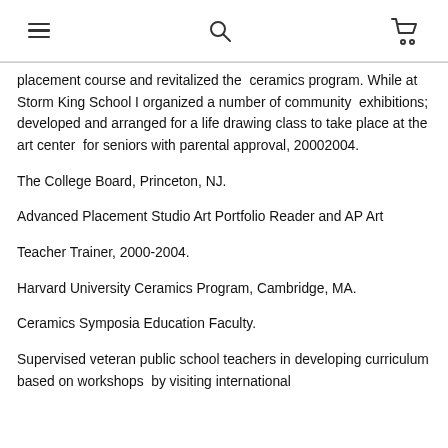[hamburger menu] [search icon] [cart icon]
placement course and revitalized the ceramics program. While at Storm King School I organized a number of community exhibitions; developed and arranged for a life drawing class to take place at the art center for seniors with parental approval, 20002004.
The College Board, Princeton, NJ.
Advanced Placement Studio Art Portfolio Reader and AP Art
Teacher Trainer, 2000-2004.
Harvard University Ceramics Program, Cambridge, MA.
Ceramics Symposia Education Faculty.
Supervised veteran public school teachers in developing curriculum based on workshops by visiting international